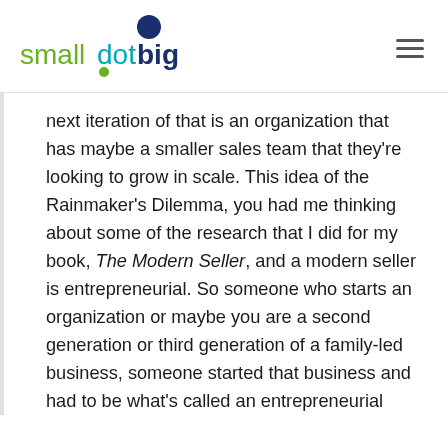[Figure (logo): smalldotbig logo with colored text: 'small' in green, 'dot' in teal/cyan, 'big' in dark navy blue, with a green dot below the 'd' and a dark blue circle above forming the logo mark]
next iteration of that is an organization that has maybe a smaller sales team that they're looking to grow in scale. This idea of the Rainmaker's Dilemma, you had me thinking about some of the research that I did for my book, The Modern Seller, and a modern seller is entrepreneurial. So someone who starts an organization or maybe you are a second generation or third generation of a family-led business, someone started that business and had to be what's called an entrepreneurial